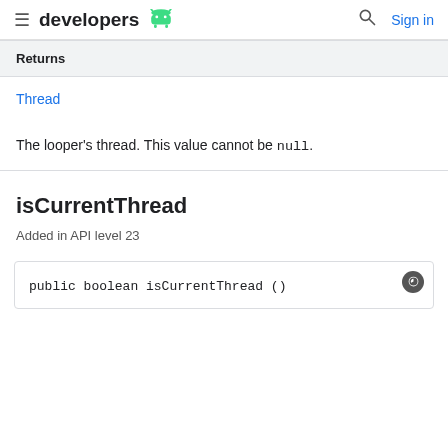developers | Sign in
| Returns |
| --- |
| Thread |
The looper's thread. This value cannot be null.
isCurrentThread
Added in API level 23
public boolean isCurrentThread ()